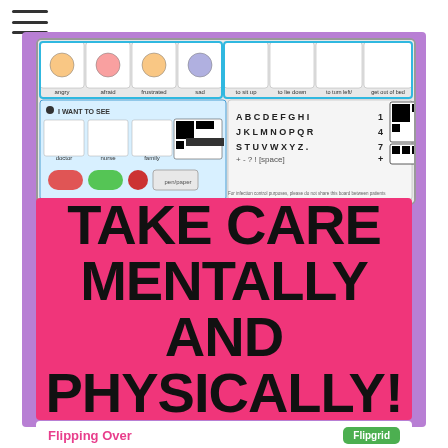[Figure (screenshot): AAC communication board showing emotion symbols (angry, afraid, frustrated, sad) and action symbols, with alphabet/number keyboard and QR codes. 'I WANT TO SEE' section with doctor, nurse, family images. Red/green thumb buttons at bottom.]
TAKE CARE MENTALLY AND PHYSICALLY!
[Figure (screenshot): Bottom card showing 'Flipping Over' text in pink and a green Flipgrid button/logo]